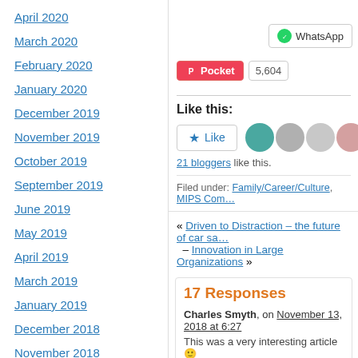April 2020
March 2020
February 2020
January 2020
December 2019
November 2019
October 2019
September 2019
June 2019
May 2019
April 2019
March 2019
January 2019
December 2018
November 2018
October 2018
WhatsApp
Pocket  5,604
Like this:
Like
21 bloggers like this.
Filed under: Family/Career/Culture, MIPS Comp…
« Driven to Distraction – the future of car sa… – Innovation in Large Organizations »
17 Responses
Charles Smyth, on November 13, 2018 at 6:27
This was a very interesting article 🙂
Loading...
Reply